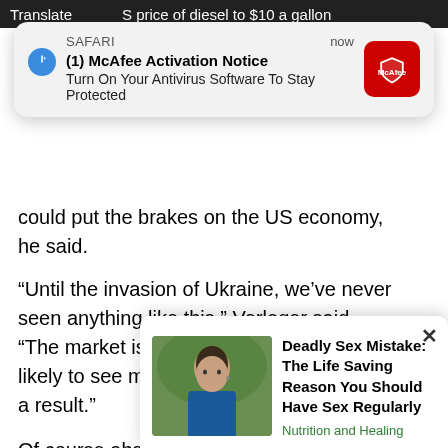[Figure (screenshot): Screenshot of a mobile browser showing a news article about diesel prices, overlaid with a Safari McAfee Activation Notice push notification and a bottom ad popup for 'Deadly Sex Mistake: The Life Saving Reason You Should Have Sex Regularly' from Nutrition and Healing.]
price of diesel to $10 a gallon
end of the summer, according to
could put the brakes on the US economy, he said.
“Until the invasion of Ukraine, we’ve never seen anything like this,” Verleger said. “The market is totally distorted. And we’re likely to see much slower economic activity as a result.”
Of course absurdly high prices aren’t the only problem.
As in... antic... comi... Adar... ike